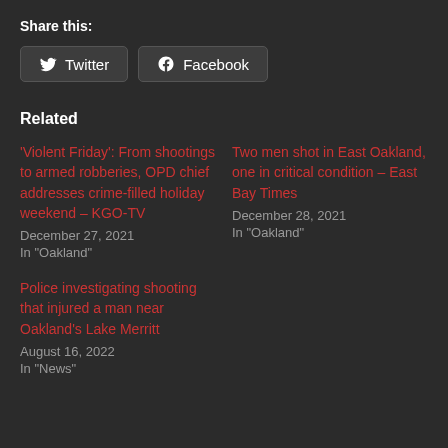Share this:
[Figure (other): Share buttons: Twitter and Facebook]
Related
'Violent Friday': From shootings to armed robberies, OPD chief addresses crime-filled holiday weekend – KGO-TV
December 27, 2021
In "Oakland"
Two men shot in East Oakland, one in critical condition – East Bay Times
December 28, 2021
In "Oakland"
Police investigating shooting that injured a man near Oakland's Lake Merritt
August 16, 2022
In "News"